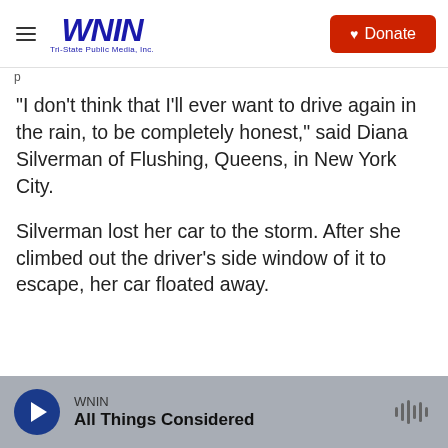WNIN Tri-State Public Media, Inc. | Donate
"I don't think that I'll ever want to drive again in the rain, to be completely honest," said Diana Silverman of Flushing, Queens, in New York City.
Silverman lost her car to the storm. After she climbed out the driver's side window of it to escape, her car floated away.
WNIN | All Things Considered